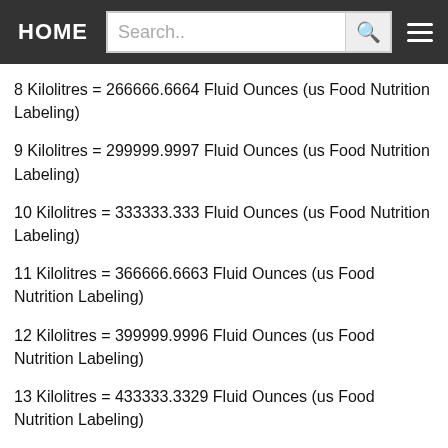HOME | Search..
8 Kilolitres = 266666.6664 Fluid Ounces (us Food Nutrition Labeling)
9 Kilolitres = 299999.9997 Fluid Ounces (us Food Nutrition Labeling)
10 Kilolitres = 333333.333 Fluid Ounces (us Food Nutrition Labeling)
11 Kilolitres = 366666.6663 Fluid Ounces (us Food Nutrition Labeling)
12 Kilolitres = 399999.9996 Fluid Ounces (us Food Nutrition Labeling)
13 Kilolitres = 433333.3329 Fluid Ounces (us Food Nutrition Labeling)
14 Kilolitres = 466666.6662 Fluid Ounces (us Food Nutrition Labeling)